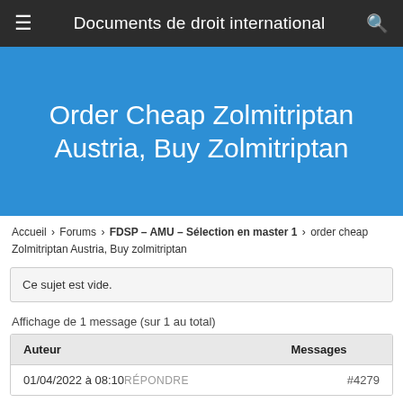Documents de droit international
Order Cheap Zolmitriptan Austria, Buy Zolmitriptan
Accueil › Forums › FDSP – AMU – Sélection en master 1 › order cheap Zolmitriptan Austria, Buy zolmitriptan
Ce sujet est vide.
Affichage de 1 message (sur 1 au total)
| Auteur | Messages |
| --- | --- |
| 01/04/2022 à 08:10 RÉPONDRE | #4279 |